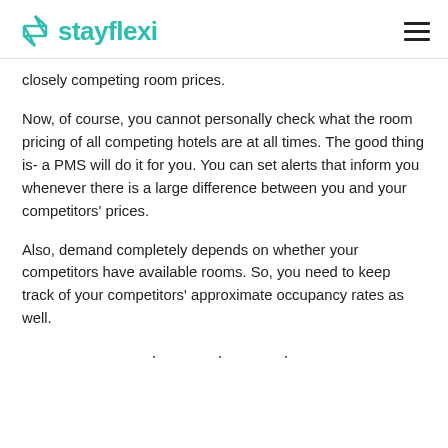stayflexi
closely competing room prices.
Now, of course, you cannot personally check what the room pricing of all competing hotels are at all times. The good thing is- a PMS will do it for you. You can set alerts that inform you whenever there is a large difference between you and your competitors' prices.
Also, demand completely depends on whether your competitors have available rooms. So, you need to keep track of your competitors' approximate occupancy rates as well.